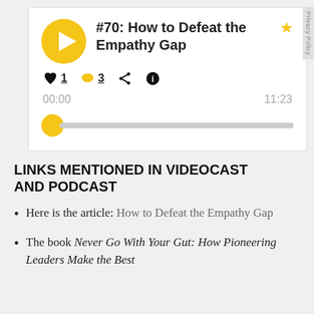[Figure (screenshot): Podcast player widget showing episode #70: How to Defeat the Empathy Gap. Includes play button (yellow circle with triangle), star icon, like count 1, comment count 3, share and info icons, time display 00:00 to 11:23, and a progress bar with yellow thumb at start.]
LINKS MENTIONED IN VIDEOCAST AND PODCAST
Here is the article: How to Defeat the Empathy Gap
The book Never Go With Your Gut: How Pioneering Leaders Make the Best